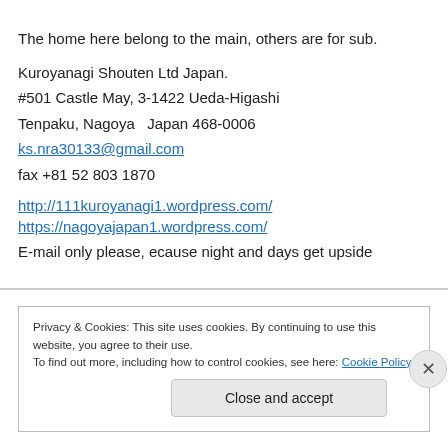The home here belong to the main, others are for sub.
Kuroyanagi Shouten Ltd Japan.
#501 Castle May, 3-1422 Ueda-Higashi
Tenpaku, Nagoya  Japan 468-0006
ks.nra30133@gmail.com
fax +81 52 803 1870
http://111kuroyanagi1.wordpress.com/
https://nagoyajapan1.wordpress.com/
E-mail only please, ecause night and days get upside
Privacy & Cookies: This site uses cookies. By continuing to use this website, you agree to their use.
To find out more, including how to control cookies, see here: Cookie Policy
Close and accept